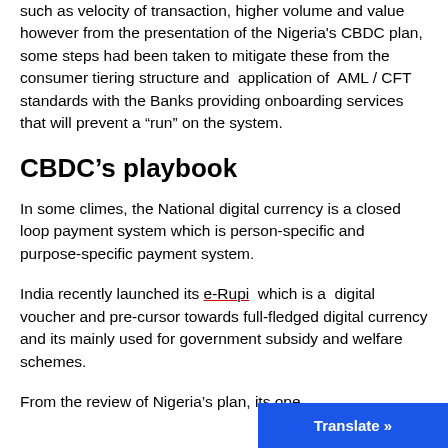such as velocity of transaction, higher volume and value however from the presentation of the Nigeria's CBDC plan, some steps had been taken to mitigate these from the consumer tiering structure and application of AML / CFT standards with the Banks providing onboarding services that will prevent a “run” on the system.
CBDC’s playbook
In some climes, the National digital currency is a closed loop payment system which is person-specific and purpose-specific payment system.
India recently launched its e-Rupi which is a digital voucher and pre-cursor towards full-fledged digital currency and its mainly used for government subsidy and welfare schemes.
From the review of Nigeria’s plan, its ope...